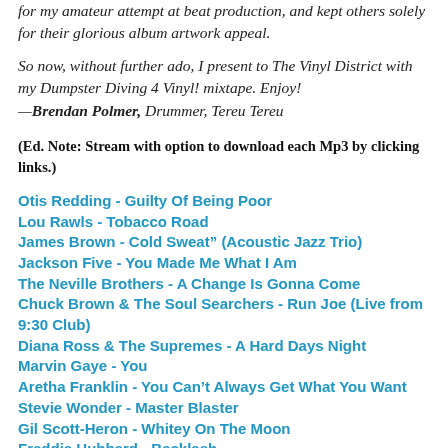for my amateur attempt at beat production, and kept others solely for their glorious album artwork appeal.
So now, without further ado, I present to The Vinyl District with my Dumpster Diving 4 Vinyl! mixtape. Enjoy!
—Brendan Polmer, Drummer, Tereu Tereu
(Ed. Note: Stream with option to download each Mp3 by clicking links.)
Otis Redding - Guilty Of Being Poor
Lou Rawls - Tobacco Road
James Brown - Cold Sweat" (Acoustic Jazz Trio)
Jackson Five - You Made Me What I Am
The Neville Brothers - A Change Is Gonna Come
Chuck Brown & The Soul Searchers - Run Joe (Live from 9:30 Club)
Diana Ross & The Supremes - A Hard Days Night
Marvin Gaye - You
Aretha Franklin - You Can't Always Get What You Want
Stevie Wonder - Master Blaster
Gil Scott-Heron - Whitey On The Moon
Freddie Hubbard - Backlash